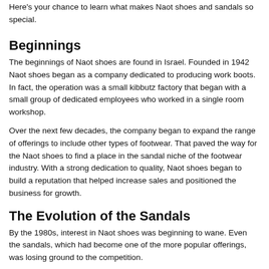Here's your chance to learn what makes Naot shoes and sandals so special.
Beginnings
The beginnings of Naot shoes are found in Israel. Founded in 1942 Naot shoes began as a company dedicated to producing work boots. In fact, the operation was a small kibbutz factory that began with a small group of dedicated employees who worked in a single room workshop.
Over the next few decades, the company began to expand the range of offerings to include other types of footwear. That paved the way for the Naot shoes to find a place in the sandal niche of the footwear industry. With a strong dedication to quality, Naot shoes began to build a reputation that helped increase sales and positioned the business for growth.
The Evolution of the Sandals
By the 1980s, interest in Naot shoes was beginning to wane. Even the sandals, which had become one of the more popular offerings, was losing ground to the competition.